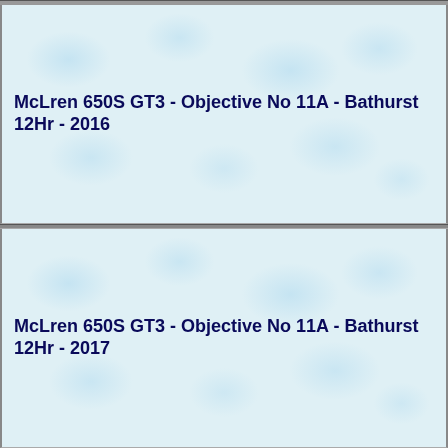McLren 650S GT3 - Objective No 11A - Bathurst 12Hr - 2016
McLren 650S GT3 - Objective No 11A - Bathurst 12Hr - 2017